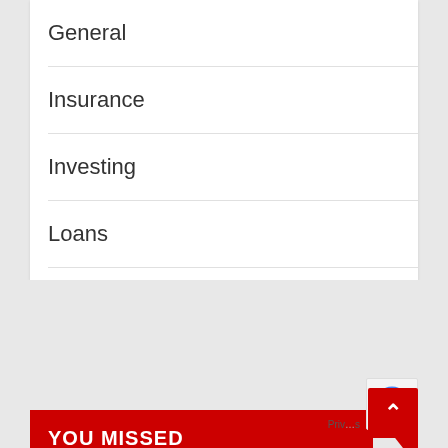General
Insurance
Investing
Loans
Mortgage
YOU MISSED